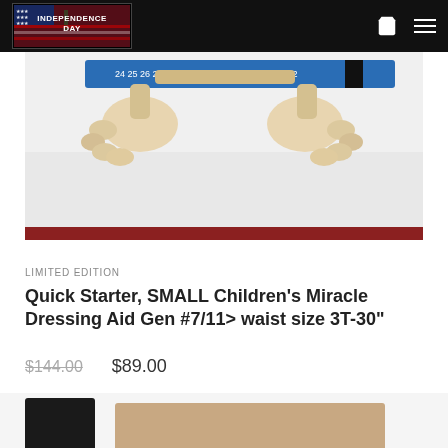Independence Day store navbar with logo, cart icon, and menu icon
[Figure (photo): Product photo showing a dressing aid device with articulated hands/joints and a blue measuring tape, on a white surface]
LIMITED EDITION
Quick Starter, SMALL Children's Miracle Dressing Aid Gen #7/11> waist size 3T-30"
$144.00  $89.00
[Figure (photo): Partial product thumbnail images at the bottom of the page]